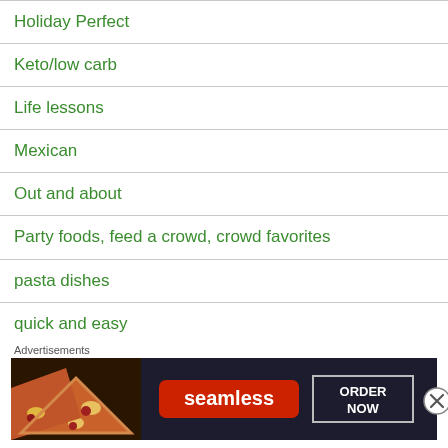Holiday Perfect
Keto/low carb
Life lessons
Mexican
Out and about
Party foods, feed a crowd, crowd favorites
pasta dishes
quick and easy
Refreshing beverages
seafood
Sides
[Figure (screenshot): Seamless food delivery advertisement banner with pizza image on left, Seamless red logo badge in center, and ORDER NOW button on right with a close (X) button overlay.]